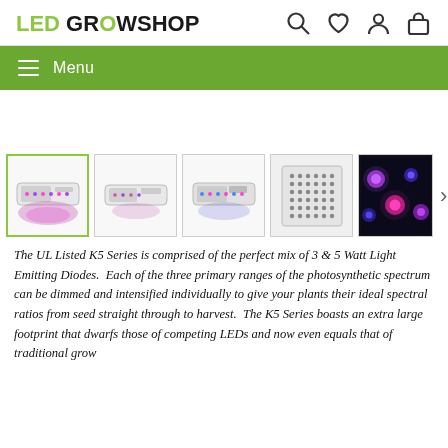[Figure (logo): LED GROWSHOP logo with LED in green and GROWSHOP in black with green O]
[Figure (illustration): Header icons: search magnifying glass, heart/wishlist, user/account, shopping bag]
[Figure (illustration): Green navigation menu bar with hamburger icon and Menu text]
[Figure (photo): Thumbnail gallery of LED grow light product: 5 product images - LED panel glowing purple/pink (selected), same panel side view, panel with blue and pink LEDs lit, panel grid/back view, close-up of glowing LED diodes purple/blue. Right arrow for more images.]
The UL Listed K5 Series is comprised of the perfect mix of 3 & 5 Watt Light Emitting Diodes.  Each of the three primary ranges of the photosynthetic spectrum can be dimmed and intensified individually to give your plants their ideal spectral ratios from seed straight through to harvest.  The K5 Series boasts an extra large footprint that dwarfs those of competing LEDs and now even equals that of traditional grow